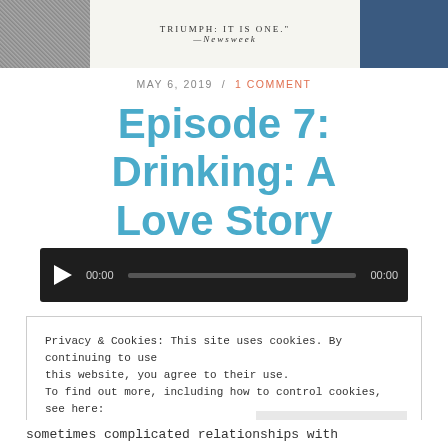[Figure (photo): Top of page showing a book cover fragment with text 'TRIUMPH: IT IS ONE.' and '—NEWSWEEK' on a white background, flanked by gray textured area on left and dark blue area on right]
MAY 6, 2019 / 1 COMMENT
Episode 7: Drinking: A Love Story
[Figure (other): Audio player widget with play button, 00:00 time start, progress bar, and 00:00 time end on dark background]
Privacy & Cookies: This site uses cookies. By continuing to use this website, you agree to their use.
To find out more, including how to control cookies, see here:
Cookie Policy
Close and accept
sometimes complicated relationships with